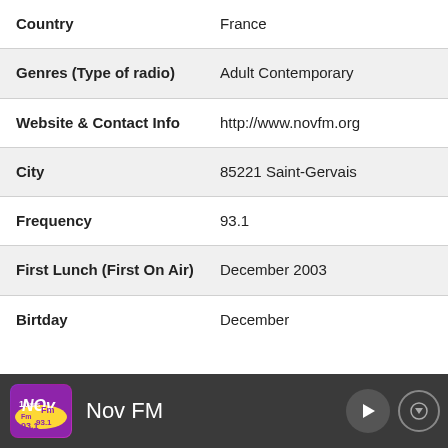| Field | Value |
| --- | --- |
| Country | France |
| Genres (Type of radio) | Adult Contemporary |
| Website & Contact Info | http://www.novfm.org |
| City | 85221 Saint-Gervais |
| Frequency | 93.1 |
| First Lunch (First On Air) | December 2003 |
| Birtday | December |
[Figure (logo): Nov FM radio station player bar with logo, station name 'Nov FM', play button, and down arrow button on dark grey background]